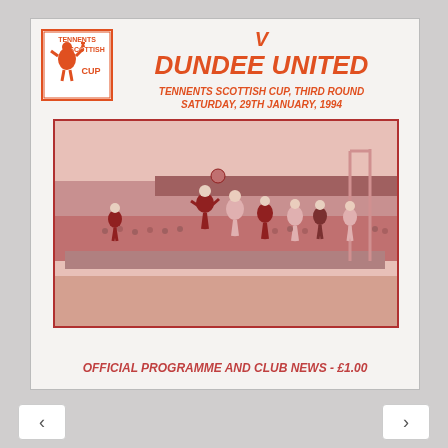[Figure (logo): Tennents Scottish Cup logo — orange square border with figure/text]
V
DUNDEE UNITED
TENNENTS SCOTTISH CUP, THIRD ROUND
SATURDAY, 29TH JANUARY, 1994
[Figure (photo): Black and white (printed in red/pink duotone) football match action photo showing players jumping for a header in front of a stadium stand with crowd]
OFFICIAL PROGRAMME AND CLUB NEWS - £1.00